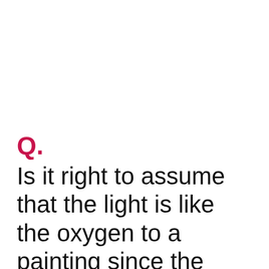Q.
Is it right to assume that the light is like the oxygen to a painting since the proper use of light and shade can bring